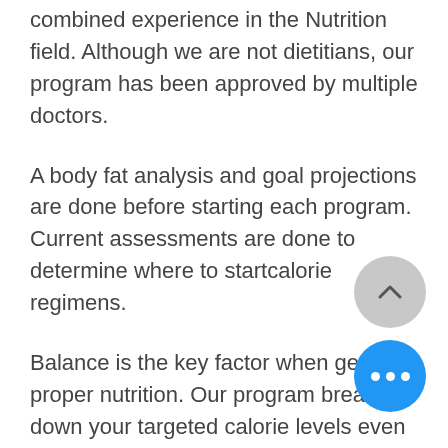combined experience in the Nutrition field. Although we are not dietitians, our program has been approved by multiple doctors.
A body fat analysis and goal projections are done before starting each program. Current assessments are done to determine where to startcalorie regimens.
Balance is the key factor when getting proper nutrition. Our program breaks down your targeted calorie levels even further, focusing on the correct number of meals. Then we take it a step up breaking down the proteins, fats, complex carbohydrates, simple carbohydrates and roughage for each meal giving you the total levels for targeted daily allowances. You can't